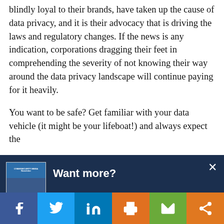blindly loyal to their brands, have taken up the cause of data privacy, and it is their advocacy that is driving the laws and regulatory changes. If the news is any indication, corporations dragging their feet in comprehending the severity of not knowing their way around the data privacy landscape will continue paying for it heavily.
You want to be safe? Get familiar with your data vehicle (it might be your lifeboat!) and always expect the
[Figure (screenshot): Popup overlay banner with dark navy background showing 'Want more?' title text, a newsletter thumbnail image on the left, and a close (x) button in the top right corner.]
[Figure (infographic): Social media sharing bar at bottom with buttons for Facebook (blue), Twitter (light blue), LinkedIn (dark blue), Print (orange), Email (green), and Share (orange).]